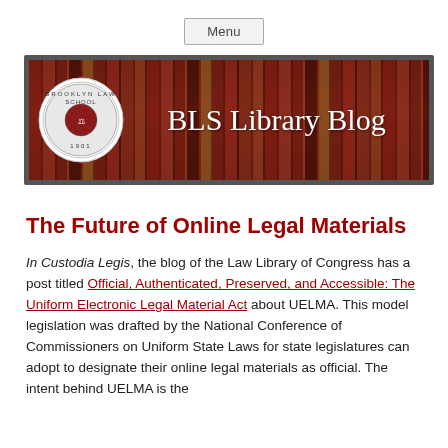Menu
[Figure (logo): BLS Library Blog banner with Brooklyn Law School seal on left and books in background]
The Future of Online Legal Materials
In Custodia Legis, the blog of the Law Library of Congress has a post titled Official, Authenticated, Preserved, and Accessible: The Uniform Electronic Legal Material Act about UELMA. This model legislation was drafted by the National Conference of Commissioners on Uniform State Laws for state legislatures can adopt to designate their online legal materials as official. The intent behind UELMA is the